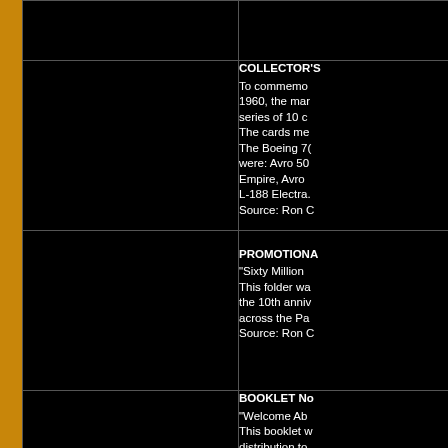| [image] | [top row - partial, no text visible] |
| [image] | COLLECTOR'S...
To commemorate...
1960, the mar...
series of 10 c...
The cards me...
The Boeing 7(...)
were: Avro 50...
Empire, Avro ...
L-188 Electra....
Source: Ron C... |
| [image] | PROMOTIONA...
"Sixty Million ...
This folder wa...
the 10th anniv...
across the Pa...
Source: Ron C... |
| [image] | BOOKLET No...
"Welcome Ab...
This booklet w...
distribution to... |